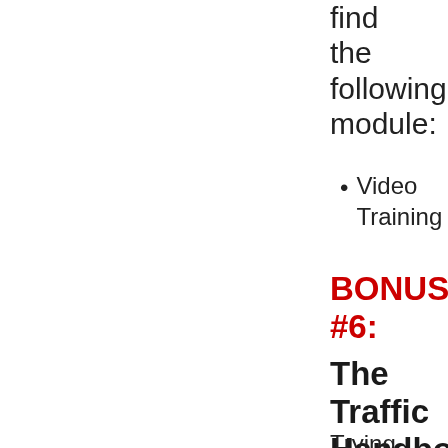find the following module:
Video Training
BONUS #6:
The Traffic Handbook
Trying